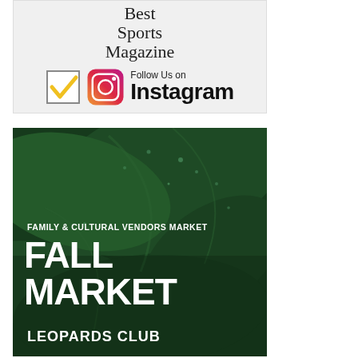[Figure (illustration): Light gray advertisement banner showing 'Best Sports Magazine' text at top, followed by a checkbox icon, Instagram camera icon, and 'Follow Us on Instagram' text in bold.]
[Figure (photo): Dark green advertisement for a Fall Market event over a close-up photo of wet green leaves with water droplets. Text reads 'FAMILY & CULTURAL VENDORS MARKET', 'FALL MARKET' in large bold white letters, and 'LEOPARDS CLUB' at the bottom.]